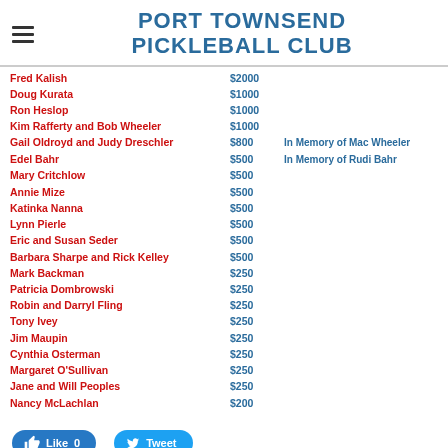PORT TOWNSEND PICKLEBALL CLUB
Fred Kalish $2000
Doug Kurata $1000
Ron Heslop $1000
Kim Rafferty and Bob Wheeler $1000
Gail Oldroyd and Judy Dreschler $800 In Memory of Mac Wheeler
Edel Bahr $500 In Memory of Rudi Bahr
Mary Critchlow $500
Annie Mize $500
Katinka Nanna $500
Lynn Pierle $500
Eric and Susan Seder $500
Barbara Sharpe and Rick Kelley $500
Mark Backman $250
Patricia Dombrowski $250
Robin and Darryl Fling $250
Tony Ivey $250
Jim Maupin $250
Cynthia Osterman $250
Margaret O'Sullivan $250
Jane and Will Peoples $250
Nancy McLachlan $200